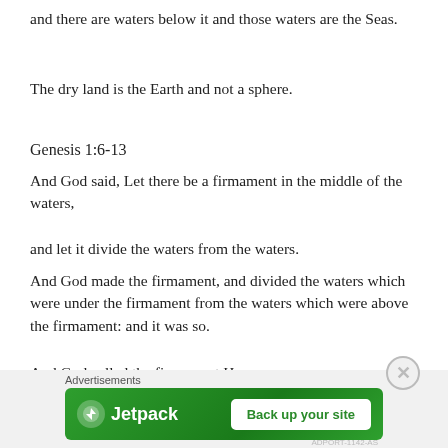and there are waters below it and those waters are the Seas.
The dry land is the Earth and not a sphere.
Genesis 1:6-13
And God said, Let there be a firmament in the middle of the waters,
and let it divide the waters from the waters.
And God made the firmament, and divided the waters which were under the firmament from the waters which were above the firmament: and it was so.
And God called the firmament Heaven.
And the evening and the morning were the second day.
And God said, Let the waters under the heaven be
[Figure (other): Jetpack advertisement banner with logo and 'Back up your site' button]